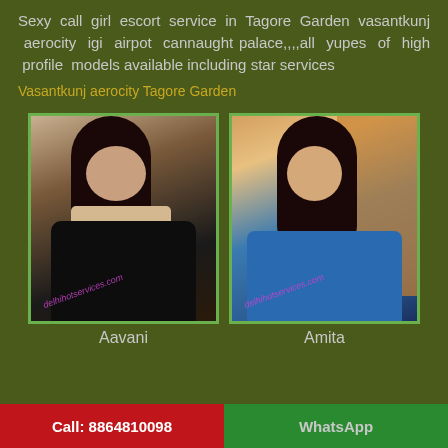Sexy call girl escort service in Tagore Garden vasantkunj aerocity igi airpot cannaught palace,,,,all yupes of high profile models available including star services
Vasantkunj aerocity Tagore Garden
[Figure (photo): Photo of a young woman named Aavani wearing black outfit with light-colored top portion, long dark hair, watermark reads delhihotservices.com]
[Figure (photo): Photo of a young woman named Amita wearing a blue outfit, dark hair, watermark reads delhihotservices.com]
Aavani
Amita
Call: 8864810098
WhatsApp